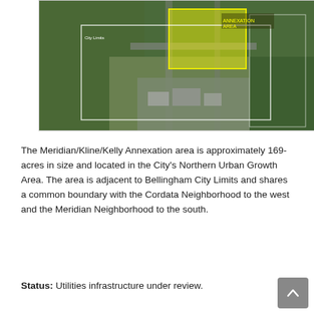[Figure (map): Aerial satellite map showing the Meridian/Kline/Kelly Annexation area highlighted in yellow, with white boundary lines indicating City Limits and Urban Growth Area boundaries, showing the northern part of Bellingham, WA with surrounding neighborhoods and roads.]
The Meridian/Kline/Kelly Annexation area is approximately 169-acres in size and located in the City's Northern Urban Growth Area. The area is adjacent to Bellingham City Limits and shares a common boundary with the Cordata Neighborhood to the west and the Meridian Neighborhood to the south.
Status: Utilities infrastructure under review.